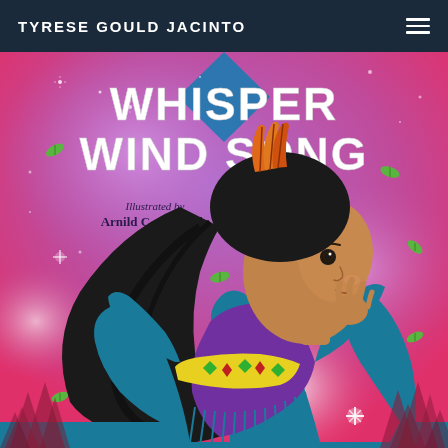TYRESE GOULD JACINTO
[Figure (illustration): Book cover for 'Whisper Wind Song' by Tyrese Gould Jacinto, illustrated by Arnild C. Aldepolla. Shows a Native American girl with long black hair blowing in the wind, wearing a purple and teal fringed dress with yellow belt decorated with green diamonds and red symbols. She has orange feathers in her hair and holds her hand to her chin thoughtfully. Green leaves float around her. The background is a gradient from purple at top to pink/magenta at bottom with dark silhouetted pine trees. Sparkles/glowing lights are visible. The title 'WHISPER WIND SONG' is displayed in large white text at the top of the cover.]